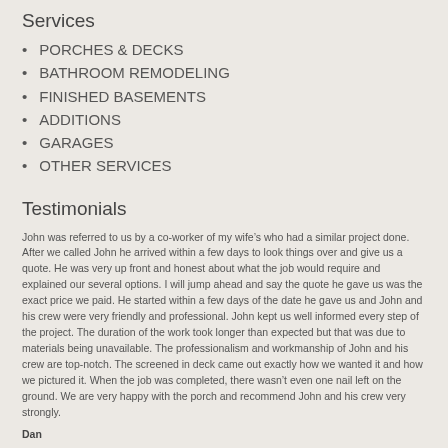Services
PORCHES & DECKS
BATHROOM REMODELING
FINISHED BASEMENTS
ADDITIONS
GARAGES
OTHER SERVICES
Testimonials
John was referred to us by a co-worker of my wife’s who had a similar project done. After we called John he arrived within a few days to look things over and give us a quote. He was very up front and honest about what the job would require and explained our several options. I will jump ahead and say the quote he gave us was the exact price we paid. He started within a few days of the date he gave us and John and his crew were very friendly and professional. John kept us well informed every step of the project. The duration of the work took longer than expected but that was due to materials being unavailable. The professionalism and workmanship of John and his crew are top-notch. The screened in deck came out exactly how we wanted it and how we pictured it. When the job was completed, there wasn’t even one nail left on the ground. We are very happy with the porch and recommend John and his crew very strongly.
Dan